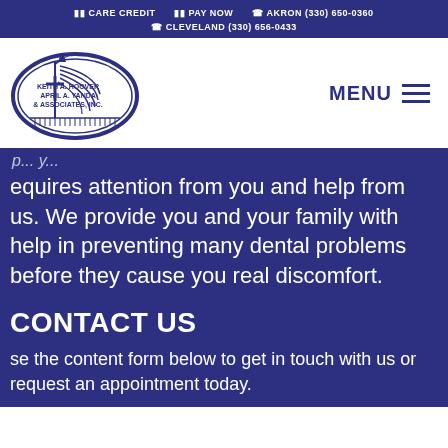CARE CREDIT  PAY NOW  AKRON (330) 650-0360  CLEVELAND (330) 656-0433
[Figure (logo): Keith A. Hoover, April A. Yanda & Associates, Inc. oval logo with lamp post and feather/tree graphic]
MENU
requires attention from you and help from us. We provide you and your family with help in preventing many dental problems before they cause you real discomfort.
CONTACT US
se the content form below to get in touch with us or request an appointment today.